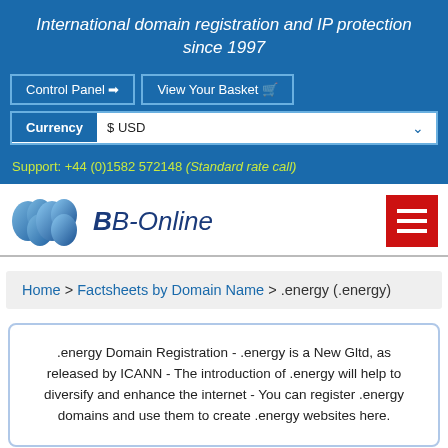International domain registration and IP protection since 1997
Control Panel  View Your Basket
Currency  $ USD
Support: +44 (0)1582 572148 (Standard rate call)
[Figure (logo): BB-Online logo with blue cloud/B shapes and cursive BB-Online text]
Home > Factsheets by Domain Name > .energy (.energy)
.energy Domain Registration - .energy is a New Gltd, as released by ICANN - The introduction of .energy will help to diversify and enhance the internet - You can register .energy domains and use them to create .energy websites here.